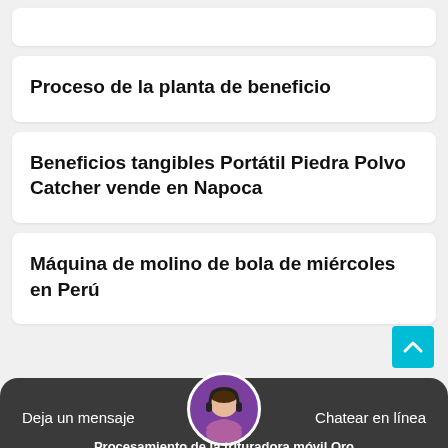Proceso de la planta de beneficio
Beneficios tangibles Portátil Piedra Polvo Catcher vende en Napoca
Máquina de molino de bola de miércoles en Perú
Deja un mensaje   Chatear en línea   Procesamiento de la trituradora móvil Oro